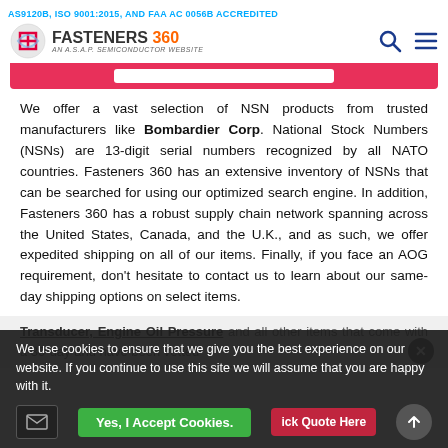AS9120B, ISO 9001:2015, AND FAA AC 0056B ACCREDITED
[Figure (logo): Fasteners 360 logo with red/white circular icon and 'AN A.S.A.P. SEMICONDUCTOR WEBSITE' tagline, alongside search and menu icons]
We offer a vast selection of NSN products from trusted manufacturers like Bombardier Corp. National Stock Numbers (NSNs) are 13-digit serial numbers recognized by all NATO countries. Fasteners 360 has an extensive inventory of NSNs that can be searched for using our optimized search engine. In addition, Fasteners 360 has a robust supply chain network spanning across the United States, Canada, and the U.K., and as such, we offer expedited shipping on all of our items. Finally, if you face an AOG requirement, don't hesitate to contact us to learn about our same-day shipping options on select items.
Transducer, Engine Oil Pressure and all other items that come with a 30-day and have been vetted by our quality assurance program, which includes visual...
We use cookies to ensure that we give you the best experience on our website. If you continue to use this site we will assume that you are happy with it.